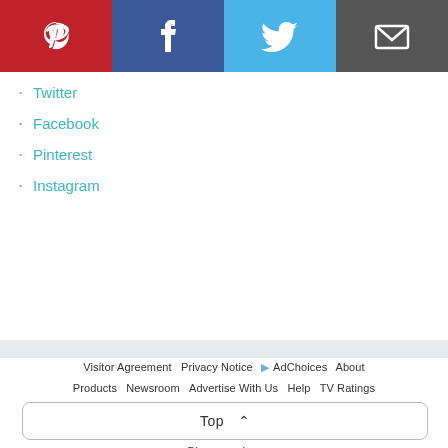[Figure (infographic): Social media share bar with Pinterest (red), Facebook (dark blue), Twitter (light blue), and Email (dark gray) icon buttons]
Twitter
Facebook
Pinterest
Instagram
Visitor Agreement   Privacy Notice   ▷ AdChoices   About   Products   Newsroom   Advertise With Us   Help   TV Ratings   Online Closed Captioning   California Privacy Notice   CA Do Not Sell My Info   Accessibility   Newsletters   Discovery, Inc.
© 2022 Warner Bros. Discovery, Inc. or its subsidiaries and affiliates. All rights reserved.
Top ^